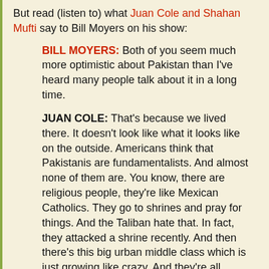But read (listen to) what Juan Cole and Shahan Mufti say to Bill Moyers on his show:
BILL MOYERS: Both of you seem much more optimistic about Pakistan than I've heard many people talk about it in a long time.
JUAN COLE: That's because we lived there. It doesn't look like what it looks like on the outside. Americans think that Pakistanis are fundamentalists. And almost none of them are. You know, there are religious people, they're like Mexican Catholics. They go to shrines and pray for things. And the Taliban hate that. In fact, they attacked a shrine recently. And then there's this big urban middle class which is just growing like crazy. And they're all watching Indian movies, and dreaming about being in Bollywood. And so and then the economy has been doing good the last few years. You know, five, six, seven percent growth. I think it was the second largest growth in Asia. Of course, it's a low starting point. But I can't understand why there isn't more...